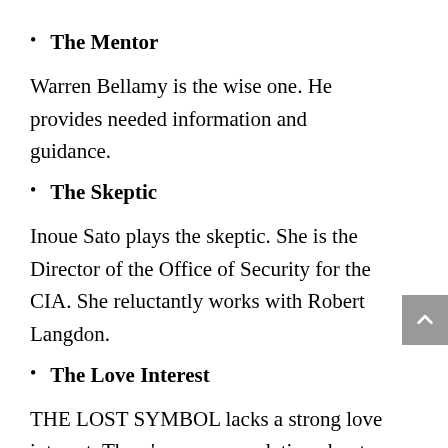The Mentor
Warren Bellamy is the wise one. He provides needed information and guidance.
The Skeptic
Inoue Sato plays the skeptic. She is the Director of the Office of Security for the CIA. She reluctantly works with Robert Langdon.
The Love Interest
THE LOST SYMBOL lacks a strong love interest. There's some speculation about